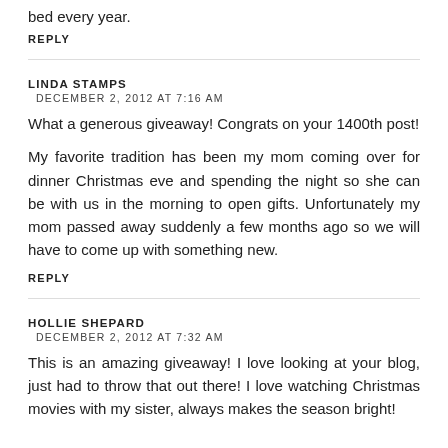bed every year.
REPLY
LINDA STAMPS
DECEMBER 2, 2012 AT 7:16 AM
What a generous giveaway! Congrats on your 1400th post!
My favorite tradition has been my mom coming over for dinner Christmas eve and spending the night so she can be with us in the morning to open gifts. Unfortunately my mom passed away suddenly a few months ago so we will have to come up with something new.
REPLY
HOLLIE SHEPARD
DECEMBER 2, 2012 AT 7:32 AM
This is an amazing giveaway! I love looking at your blog, just had to throw that out there! I love watching Christmas movies with my sister, always makes the season bright!